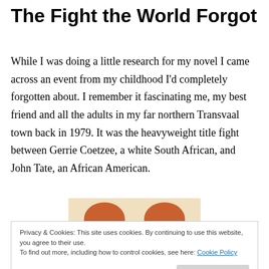The Fight the World Forgot
While I was doing a little research for my novel I came across an event from my childhood I'd completely forgotten about. I remember it fascinating me, my best friend and all the adults in my far northern Transvaal town back in 1979. It was the heavyweight title fight between Gerrie Coetzee, a white South African, and John Tate, an African American.
[Figure (photo): Two round orange/copper coin-like objects (tops visible) against a light beige background, partially visible]
Privacy & Cookies: This site uses cookies. By continuing to use this website, you agree to their use.
To find out more, including how to control cookies, see here: Cookie Policy
My family weren't boxing fans, not even sports fans, really…